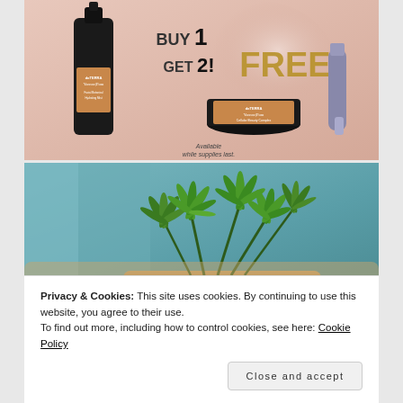[Figure (photo): doTERRA Yarrow|Pom product advertisement on pink background. Text reads 'BUY 1 GET 2! FREE'. Shows a dropper bottle, a jar of Yarrow|Pom Cellular Beauty Complex, and a purple tube. Text at bottom: 'Available while supplies last.']
[Figure (photo): Close-up photo of green leafy plant (possibly cannabis/hemp) in a wooden bowl with blurred teal background]
Privacy & Cookies: This site uses cookies. By continuing to use this website, you agree to their use.
To find out more, including how to control cookies, see here: Cookie Policy
Close and accept